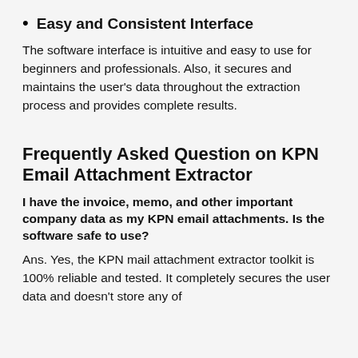Easy and Consistent Interface
The software interface is intuitive and easy to use for beginners and professionals. Also, it secures and maintains the user's data throughout the extraction process and provides complete results.
Frequently Asked Question on KPN Email Attachment Extractor
I have the invoice, memo, and other important company data as my KPN email attachments. Is the software safe to use?
Ans. Yes, the KPN mail attachment extractor toolkit is 100% reliable and tested. It completely secures the user data and doesn't store any of